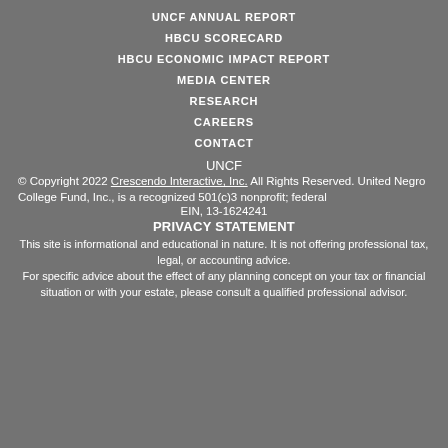UNCF ANNUAL REPORT
HBCU SCORECARD
HBCU ECONOMIC IMPACT REPORT
MEDIA CENTER
RESEARCH
CAREERS
CONTACT
UNCF
© Copyright 2022 Crescendo Interactive, Inc. All Rights Reserved. United Negro College Fund, Inc., is a recognized 501(c)3 nonprofit; federal EIN, 13-1624241
PRIVACY STATEMENT
This site is informational and educational in nature. It is not offering professional tax, legal, or accounting advice.
For specific advice about the effect of any planning concept on your tax or financial situation or with your estate, please consult a qualified professional advisor.